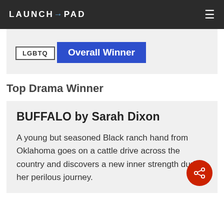LAUNCH→PAD
LGBTQ
Overall Winner
Top Drama Winner
BUFFALO by Sarah Dixon
A young but seasoned Black ranch hand from Oklahoma goes on a cattle drive across the country and discovers a new inner strength during her perilous journey.